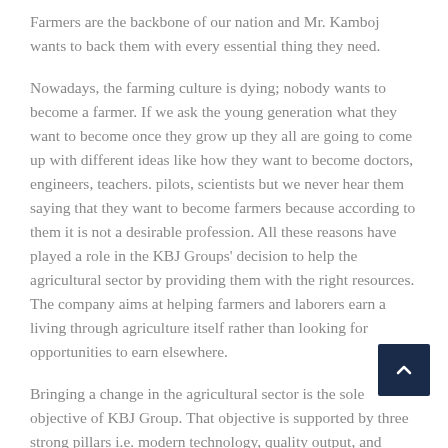Farmers are the backbone of our nation and Mr. Kamboj wants to back them with every essential thing they need.
Nowadays, the farming culture is dying; nobody wants to become a farmer. If we ask the young generation what they want to become once they grow up they all are going to come up with different ideas like how they want to become doctors, engineers, teachers. pilots, scientists but we never hear them saying that they want to become farmers because according to them it is not a desirable profession. All these reasons have played a role in the KBJ Groups' decision to help the agricultural sector by providing them with the right resources. The company aims at helping farmers and laborers earn a living through agriculture itself rather than looking for opportunities to earn elsewhere.
Bringing a change in the agricultural sector is the sole objective of KBJ Group. That objective is supported by three strong pillars i.e. modern technology, quality output, and